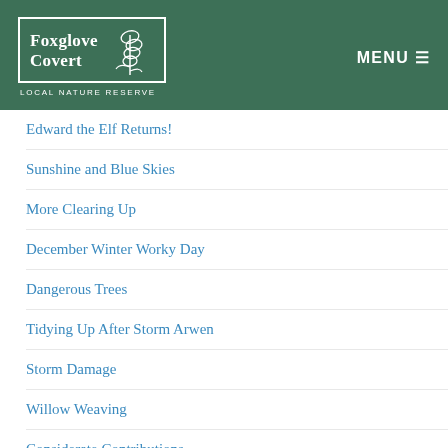[Figure (logo): Foxglove Covert Local Nature Reserve logo with white foxglove plant illustration on green background]
Edward the Elf Returns!
Sunshine and Blue Skies
More Clearing Up
December Winter Worky Day
Dangerous Trees
Tidying Up After Storm Arwen
Storm Damage
Willow Weaving
Considerate Contributions